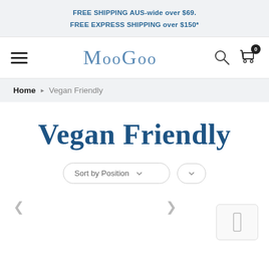FREE SHIPPING AUS-wide over $69.
FREE EXPRESS SHIPPING over $150*
[Figure (logo): MooGoo brand logo text in blue serif font]
Home > Vegan Friendly
Vegan Friendly
Sort by Position